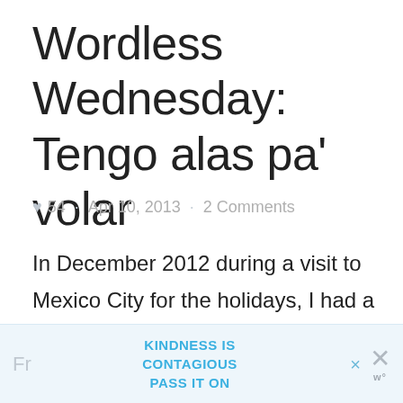Wordless Wednesday: Tengo alas pa' volar
♥ 54 · Apr 10, 2013 · 2 Comments
In December 2012 during a visit to Mexico City for the holidays, I had a chance to once again visit La Casa Azul, the home of Frida Kahlo and Diego Rivera, which is now the Museo Fr…
[Figure (other): Advertisement banner: KINDNESS IS CONTAGIOUS PASS IT ON, with close button and WordPress logo]